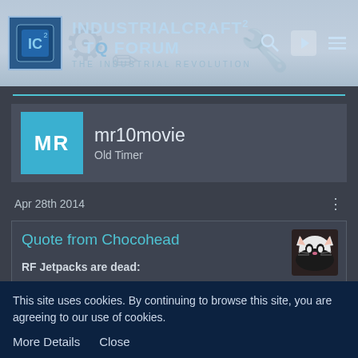[Figure (screenshot): IndustrialCraft² forum website header banner with logo, title text 'IndustrialCraft² - The Forum', subtitle 'The Industrial Revolution', search icon, login icon, and menu icon]
MR
mr10movie
Old Timer
Apr 28th 2014
Quote from Chocohead
RF Jetpacks are dead:
http://www.minecraftforum.net/...age__st__40#entry30893513
This site uses cookies. By continuing to browse this site, you are agreeing to our use of cookies.
More Details
Close